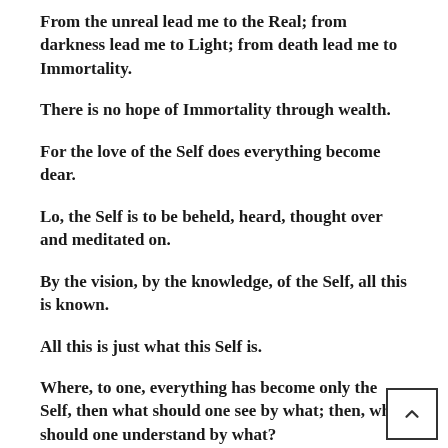From the unreal lead me to the Real; from darkness lead me to Light; from death lead me to Immortality.
There is no hope of Immortality through wealth.
For the love of the Self does everything become dear.
Lo, the Self is to be beheld, heard, thought over and meditated on.
By the vision, by the knowledge, of the Self, all this is known.
All this is just what this Self is.
Where, to one, everything has become only the Self, then what should one see by what; then, what should one understand by what?